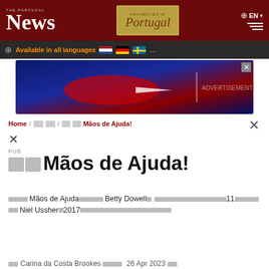The Portugal News | Properties in Portugal | EN
Available in all languages ...
[Figure (other): Advertisement banner with airline imagery]
Home / □□ / □□Mãos de Ajuda!
PUB
□□Mãos de Ajuda!
□□□□Mãos de Ajuda□□□□□Betty Dowell□ □□□□□□□□□□□□□□□□11□□□□□□□Niel Ussher□2017□□□□□□□□□□□□□□□□□□□□□
□□Carina da Costa Brookes □□□□ 26 Apr 2023 □□